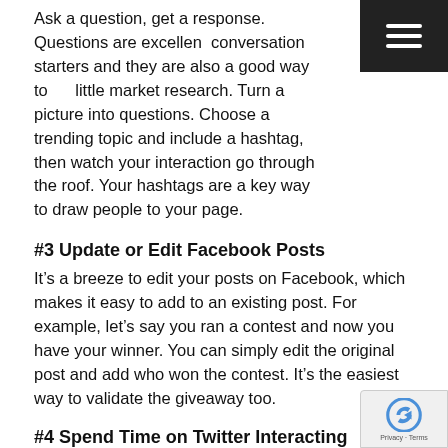Ask a question, get a response. Questions are excellent conversation starters and they are also a good way to do a little market research. Turn a picture into questions. Choose a trending topic and include a hashtag, then watch your interaction go through the roof. Your hashtags are a key way to draw people to your page.
#3 Update or Edit Facebook Posts
It’s a breeze to edit your posts on Facebook, which makes it easy to add to an existing post. For example, let’s say you ran a contest and now you have your winner. You can simply edit the original post and add who won the contest. It’s the easiest way to validate the giveaway too.
#4 Spend Time on Twitter Interacting
It’s important for you to have a presence on your social media channels and that includes more than just posting.